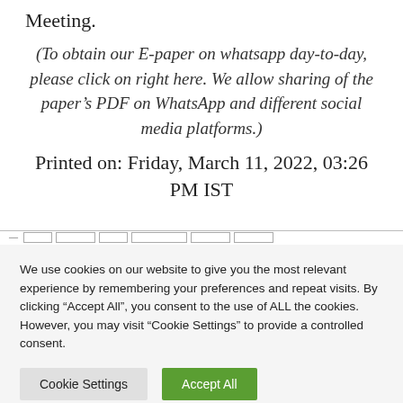Meeting.
(To obtain our E-paper on whatsapp day-to-day, please click on right here. We allow sharing of the paper’s PDF on WhatsApp and different social media platforms.)
Printed on: Friday, March 11, 2022, 03:26 PM IST
We use cookies on our website to give you the most relevant experience by remembering your preferences and repeat visits. By clicking “Accept All”, you consent to the use of ALL the cookies. However, you may visit “Cookie Settings” to provide a controlled consent.